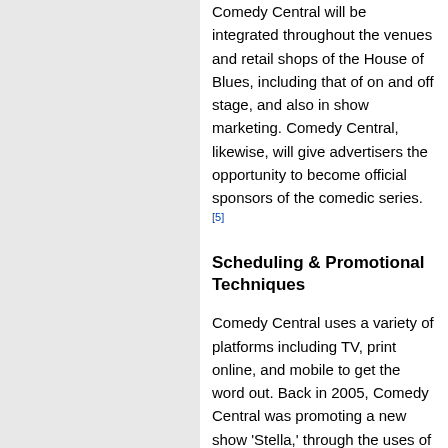Comedy Central will be integrated throughout the venues and retail shops of the House of Blues, including that of on and off stage, and also in show marketing. Comedy Central, likewise, will give advertisers the opportunity to become official sponsors of the comedic series. [5]
Scheduling & Promotional Techniques
Comedy Central uses a variety of platforms including TV, print online, and mobile to get the word out. Back in 2005, Comedy Central was promoting a new show 'Stella,' through the uses of "influencer" mailings from Cornerstone Marketing (New York), street teams, at clubs and bars, and among other places. Comedy Central also gave Verizon Wireless members preview clips of the show and ran text-based tune-in alerts